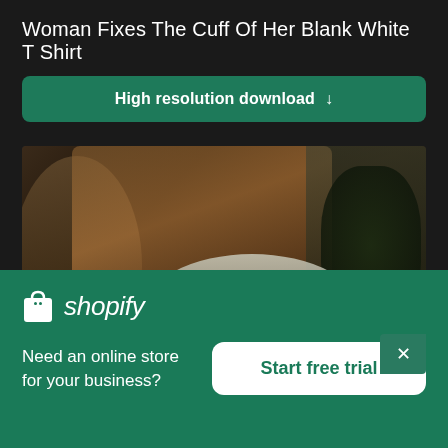Woman Fixes The Cuff Of Her Blank White T Shirt
High resolution download ↓
[Figure (photo): A woman wearing a white t-shirt, photographed from above/side, in a warmly lit indoor scene with plants and furniture in the background. Dark and moody atmosphere.]
[Figure (logo): Shopify logo — white shopping bag icon with 'shopify' in white italic text on green background. Below: 'Need an online store for your business?' text and 'Start free trial' white button.]
Need an online store for your business?
Start free trial